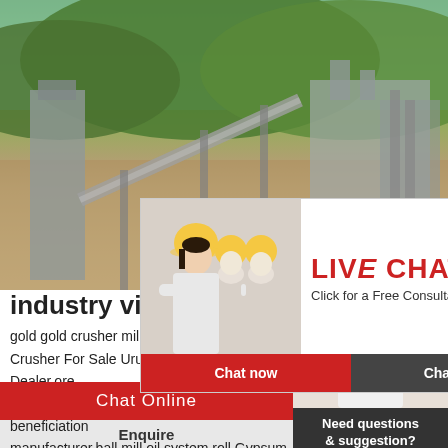[Figure (photo): Industrial facility with conveyor belt and buildings against a mountain background]
hrs Online
[Figure (photo): Live chat popup with workers in yellow hard hats. Title: LIVE CHAT. Subtitle: Click for a Free Consultation. Buttons: Chat now, Chat later]
industry vi
gold gold crusher mill price and picturesin ky
Crusher For Sale Uruguay crusher Dealer,ore
congo ore dressing,crusher coal beneficiation
manufacturer,ball mill oil system roll Gypsum
[Figure (photo): Customer service representative wearing headset]
Need questions & suggestion?
Chat Now
Chat Online
Enquire